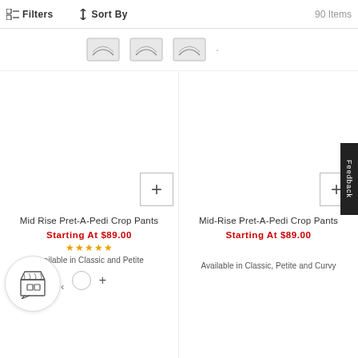Filters  Sort By  90 Items
[Figure (screenshot): Color swatch filter icons row]
Mid Rise Pret-A-Pedi Crop Pants
Starting At $89.00
Available in Classic and Petite
Mid-Rise Pret-A-Pedi Crop Pants
Starting At $89.00
Available in Classic, Petite and Curvy